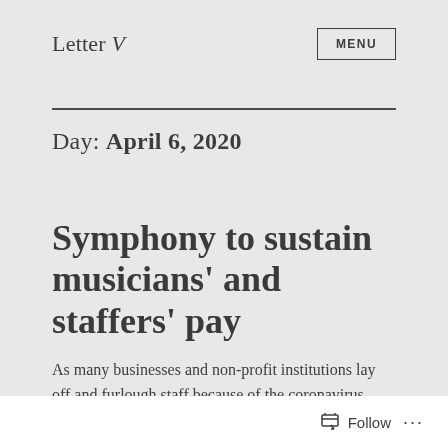Letter V
Day: April 6, 2020
Symphony to sustain musicians' and staffers' pay
As many businesses and non-profit institutions lay off and furlough staff because of the coronavirus
Follow ...